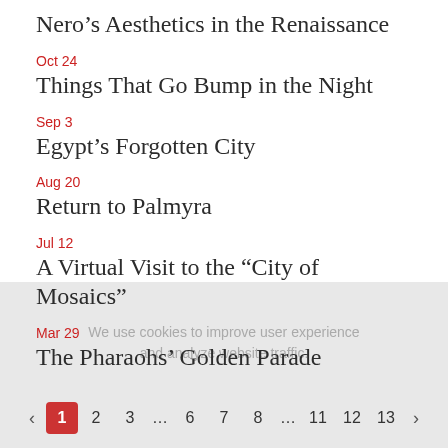Nero’s Aesthetics in the Renaissance
Oct 24
Things That Go Bump in the Night
Sep 3
Egypt’s Forgotten City
Aug 20
Return to Palmyra
Jul 12
A Virtual Visit to the “City of Mosaics”
Mar 29
The Pharaohs’ Golden Parade
We use cookies to improve user experience and analyze website traffic.
< 1 2 3 ... 6 7 8 ... 11 12 13 >